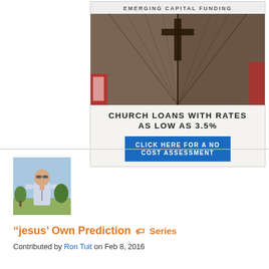[Figure (infographic): Advertisement for Emerging Capital Funding showing church doors with a cross, text 'CHURCH LOANS WITH RATES AS LOW AS 3.5%' and a blue button 'CLICK HERE FOR A NO COST ASSESSMENT']
[Figure (photo): Photo of a man (Ron Tuit) standing outdoors wearing sunglasses and a light-colored shirt]
“jesus’ Own Prediction  🏷 Series
Contributed by Ron Tuit on Feb 8, 2016